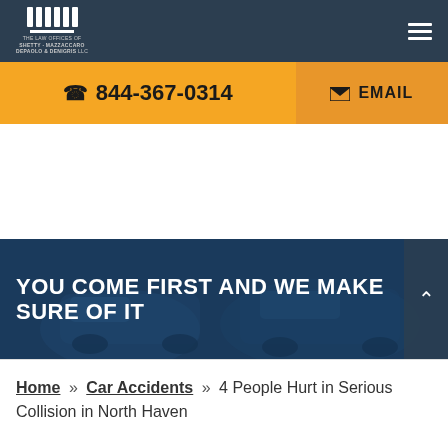THE LAW OFFICES OF SHETTY · MAZZACCARO DEPAOLO & DENIGRIS LLC
844-367-0314
EMAIL
[Figure (photo): Car accident scene photo used as hero background, teal/blue tinted overlay]
YOU COME FIRST AND WE MAKE SURE OF IT
Home » Car Accidents » 4 People Hurt in Serious Collision in North Haven